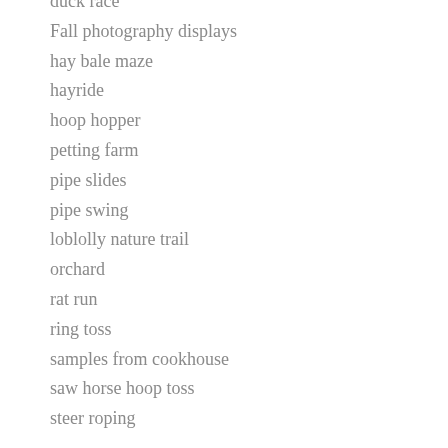duck race
Fall photography displays
hay bale maze
hayride
hoop hopper
petting farm
pipe slides
pipe swing
loblolly nature trail
orchard
rat run
ring toss
samples from cookhouse
saw horse hoop toss
steer roping